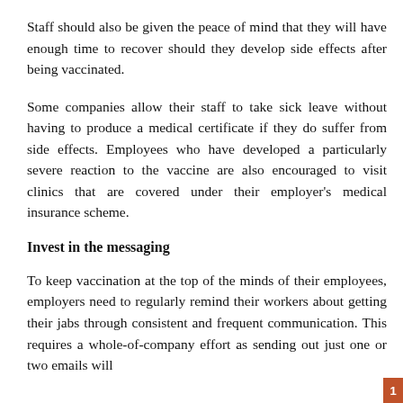Staff should also be given the peace of mind that they will have enough time to recover should they develop side effects after being vaccinated.
Some companies allow their staff to take sick leave without having to produce a medical certificate if they do suffer from side effects. Employees who have developed a particularly severe reaction to the vaccine are also encouraged to visit clinics that are covered under their employer's medical insurance scheme.
Invest in the messaging
To keep vaccination at the top of the minds of their employees, employers need to regularly remind their workers about getting their jabs through consistent and frequent communication. This requires a whole-of-company effort as sending out just one or two emails will
1